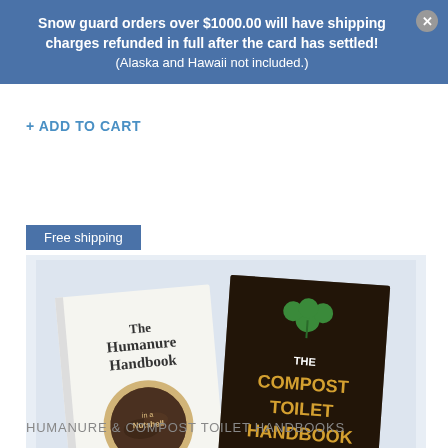Snow guard orders over $1000.00 will have shipping charges refunded in full after the card has settled! (Alaska and Hawaii not included.)
+ ADD TO CART
Free shipping
[Figure (photo): Two book covers side by side: 'The Humanure Handbook' by Joseph Jenkins on the left (white cover with magnifying glass over compost), and 'The Compost Toilet Handbook' by Joseph Jenkins on the right (dark brown cover with green plant and shovel).]
HUMANURE & COMPOST TOILET HANDBOOKS